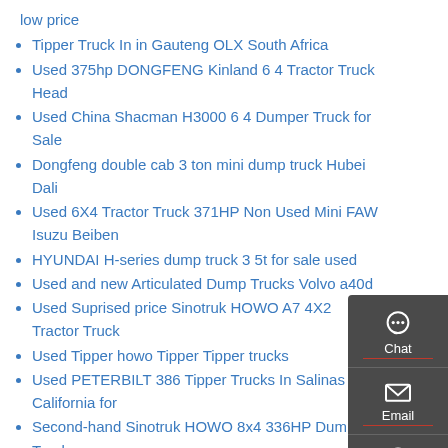low price
Tipper Truck In in Gauteng OLX South Africa
Used 375hp DONGFENG Kinland 6 4 Tractor Truck Head
Used China Shacman H3000 6 4 Dumper Truck for Sale
Dongfeng double cab 3 ton mini dump truck Hubei Dali
Used 6X4 Tractor Truck 371HP Non Used Mini FAW Isuzu Beiben
HYUNDAI H-series dump truck 3 5t for sale used
Used and new Articulated Dump Trucks Volvo a40d
Used Suprised price Sinotruk HOWO A7 4X2 Tractor Truck
Used Tipper howo Tipper Tipper trucks
Used PETERBILT 386 Tipper Trucks In Salinas California for
Second-hand Sinotruk HOWO 8x4 336HP Dump Truck
Super Tipper Truck Concept Home Design Pinterest
Used DUMP TRUCK HYDRAULIC HOSIT UNIT
1994 Kenworth T800B dump truck in Carter Lake
GLOSSARY OF TERMS TRUCK TRACTOR TRAILER
Used Dongfeng 400HP 8 4 30-40 Tons Dump Truck Dump Truck for Sales